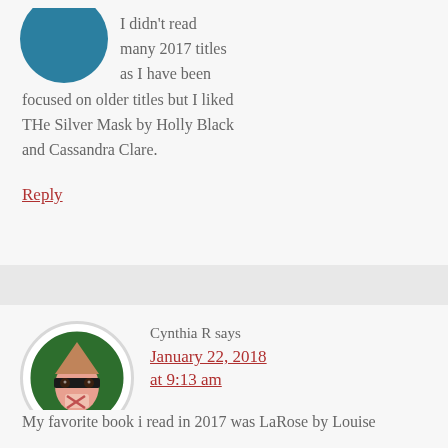I didn't read many 2017 titles as I have been focused on older titles but I liked THe Silver Mask by Holly Black and Cassandra Clare.
Reply
Cynthia R says
January 22, 2018 at 9:13 am
My favorite book i read in 2017 was LaRose by Louise